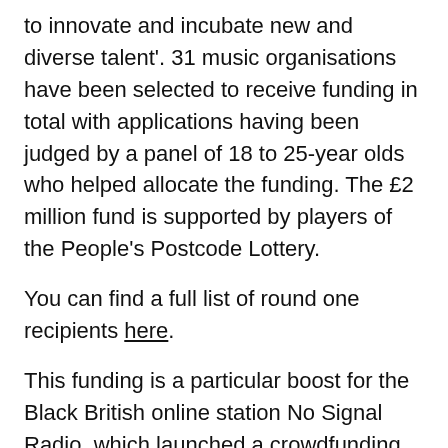to innovate and incubate new and diverse talent'. 31 music organisations have been selected to receive funding in total with applications having been judged by a panel of 18 to 25-year olds who helped allocate the funding. The £2 million fund is supported by players of the People's Postcode Lottery.
You can find a full list of round one recipients here.
This funding is a particular boost for the Black British online station No Signal Radio, which launched a crowdfunding campaign earlier this year in a bid to fund a permanent radio studio to broadcast from.
Youth Music's incubator fund is the latest example of grant funding being given to cultural entities in 2020 amid the COVID-19 pandemic which has affected much of the music landscape. The UK government's Culture